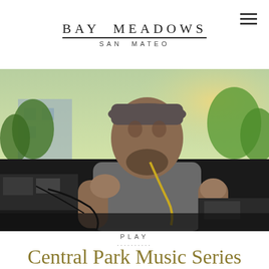BAY MEADOWS SAN MATEO
[Figure (photo): Outdoor music performer, a man wearing a grey t-shirt and grey flat cap, singing into a microphone with hands raised. Musical equipment visible in foreground and background. Green trees and sunset light in background.]
PLAY
Central Park Music Series